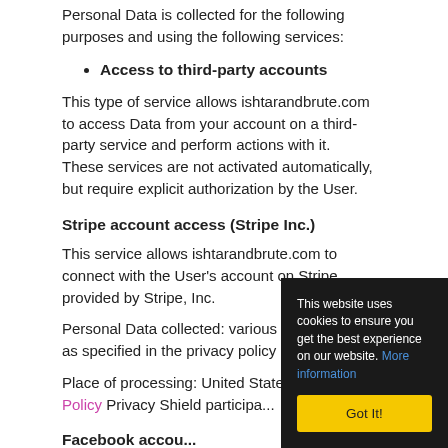Personal Data is collected for the following purposes and using the following services:
Access to third-party accounts
This type of service allows ishtarandbrute.com to access Data from your account on a third-party service and perform actions with it.
These services are not activated automatically, but require explicit authorization by the User.
Stripe account access (Stripe Inc.)
This service allows ishtarandbrute.com to connect with the User's account on Stripe, provided by Stripe, Inc.
Personal Data collected: various types of Data as specified in the privacy policy of the service.
Place of processing: United States – Privacy Policy Privacy Shield participa...
Facebook accou...
This service allo... User's account o... Facebook, Inc.
This website uses cookies to ensure you get the best experience on our website. More information
Got It!